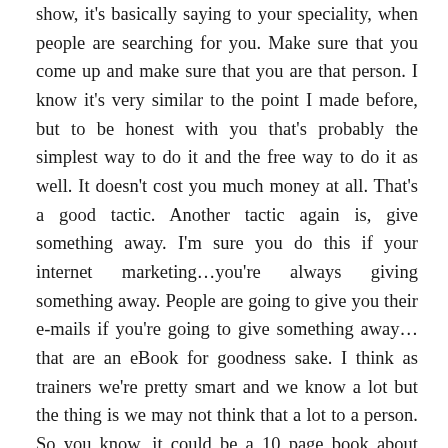show, it's basically saying to your speciality, when people are searching for you. Make sure that you come up and make sure that you are that person. I know it's very similar to the point I made before, but to be honest with you that's probably the simplest way to do it and the free way to do it as well. It doesn't cost you much money at all. That's a good tactic. Another tactic again is, give something away. I'm sure you do this if your internet marketing…you're always giving something away. People are going to give you their e-mails if you're going to give something away… that are an eBook for goodness sake. I think as trainers we're pretty smart and we know a lot but the thing is we may not think that a lot to a person. So you know, it could be a 10 page book about 'how to lose weight' but the thing is people who are searching for that will find that really valuable and then you'll be becoming the expert and the thing is, you've got their e-mail address and their name, the information about them, you can market to them and